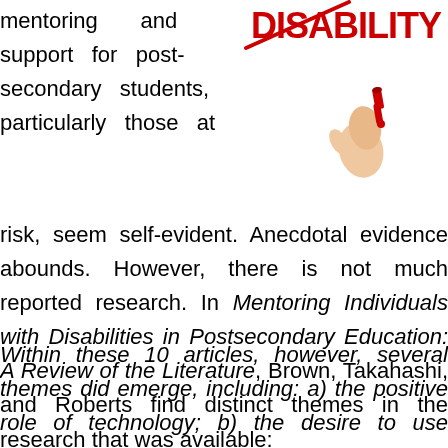mentoring and support for post-secondary students, particularly those at
[Figure (illustration): A hand holding a red marker crossing out the word DISABILITY in large red text]
risk, seem self-evident. Anecdotal evidence abounds. However, there is not much reported research. In Mentoring Individuals with Disabilities in Postsecondary Education: A Review of the Literature, Brown, Takahashi, and Roberts find distinct themes in the research that was available:
Within these 10 articles, however, several themes did emerge, including: a) the positive role of technology; b) the desire to use current mentees to become future mentors; c) a focus on specific